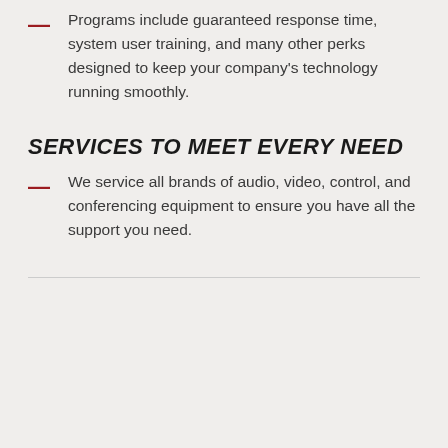Programs include guaranteed response time, system user training, and many other perks designed to keep your company's technology running smoothly.
SERVICES TO MEET EVERY NEED
We service all brands of audio, video, control, and conferencing equipment to ensure you have all the support you need.